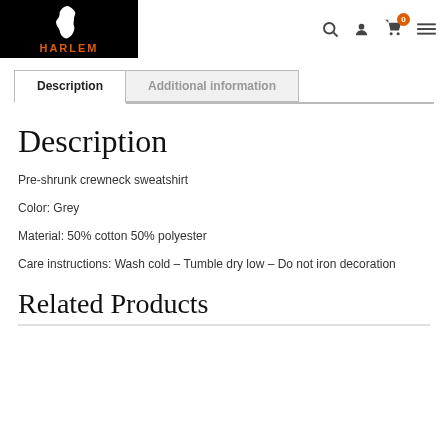HARLEM (logo with Africa silhouette, navigation icons: search, user, cart(0), menu)
Description | Additional information (tabs)
Description
Pre-shrunk crewneck sweatshirt
Color: Grey
Material: 50% cotton 50% polyester
Care instructions: Wash cold – Tumble dry low – Do not iron decoration
Related Products